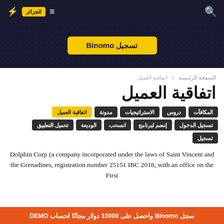الجزائر | [logo] | [search] | [menu]
[Figure (screenshot): Hero banner with yellow button: تسجيل Binomo on dark dotted background]
الصفحة الرئيسية / اتفاقية العميل
اتفاقية العميل
المكافآت
دروس
الاستراتيجيات
مدونة
اتفاقية العميل
تحميل التطبيق
الوديعة
انسحب
إنضم لبرنامج
تسجيل الدخول
تسجيل
Dolphin Corp (a company incorporated under the laws of Saint Vincent and the Grenadines, registration number 25151 IBC 2018, with an office on the First
سجل Binomo واحصل على 10000 دولار مجانًا لحساب DEMO